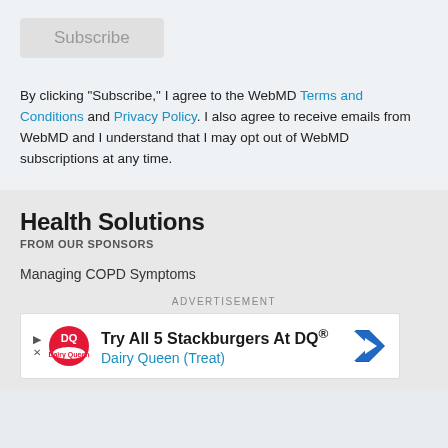[Figure (other): Subscribe button — grey rounded rectangle with grey text 'Subscribe']
By clicking "Subscribe," I agree to the WebMD Terms and Conditions and Privacy Policy. I also agree to receive emails from WebMD and I understand that I may opt out of WebMD subscriptions at any time.
Health Solutions
FROM OUR SPONSORS
Managing COPD Symptoms
ADVERTISEMENT
[Figure (other): Dairy Queen advertisement banner: Try All 5 Stackburgers At DQ® with Dairy Queen (Treat) text and DQ logo]